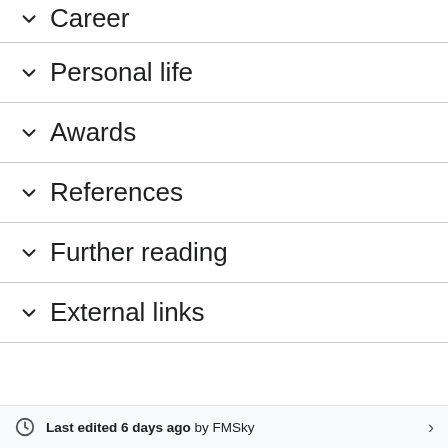Career
Personal life
Awards
References
Further reading
External links
Last edited 6 days ago by FMSky